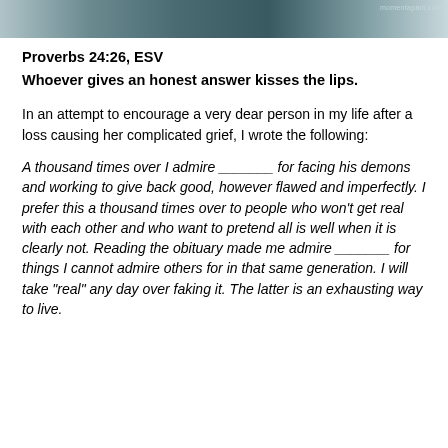[Figure (photo): Partial header image with dark tones, likely a person or scene photo, with a watermark reading 'momentapain.com' in the top right corner]
Proverbs 24:26, ESV
Whoever gives an honest answer kisses the lips.
In an attempt to encourage a very dear person in my life after a loss causing her complicated grief, I wrote the following:
A thousand times over I admire _______ for facing his demons and working to give back good, however flawed and imperfectly. I prefer this a thousand times over to people who won’t get real with each other and who want to pretend all is well when it is clearly not. Reading the obituary made me admire _______ for things I cannot admire others for in that same generation. I will take “real” any day over faking it. The latter is an exhausting way to live.